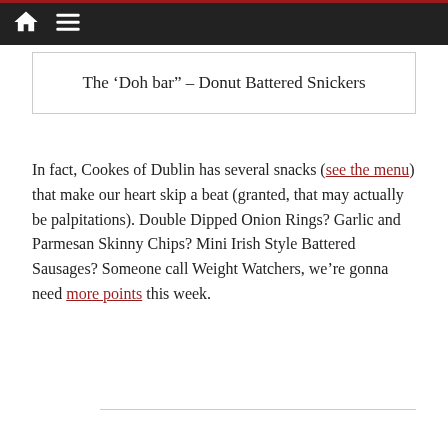Navigation bar with home and menu icons
The ‘Doh bar” – Donut Battered Snickers
In fact, Cookes of Dublin has several snacks (see the menu) that make our heart skip a beat (granted, that may actually be palpitations). Double Dipped Onion Rings? Garlic and Parmesan Skinny Chips? Mini Irish Style Battered Sausages? Someone call Weight Watchers, we’re gonna need more points this week.